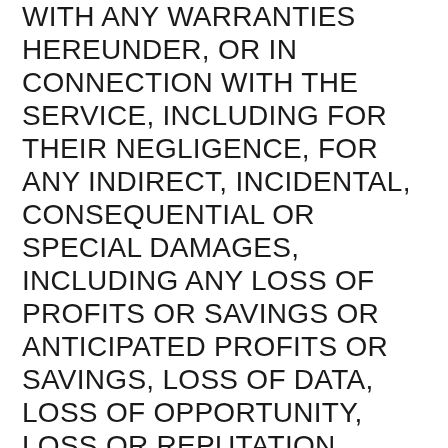WITH ANY WARRANTIES HEREUNDER, OR IN CONNECTION WITH THE SERVICE, INCLUDING FOR THEIR NEGLIGENCE, FOR ANY INDIRECT, INCIDENTAL, CONSEQUENTIAL OR SPECIAL DAMAGES, INCLUDING ANY LOSS OF PROFITS OR SAVINGS OR ANTICIPATED PROFITS OR SAVINGS, LOSS OF DATA, LOSS OF OPPORTUNITY, LOSS OR REPUTATION, GOODWILL OR BUSINESS, EVEN IF THE PATHFINDER PARTIES APPLE, AND GOOGLE HAVE BEEN ADVISED OF THE POSSIBILITY OF SUCH DAMAGES IN ADVANCE.
THE PATHFINDER PARTIES, APPLE AND GOOGLE WILL HAVE NO LIABILITY WHATSOEVER FOR ANY DAMAGE, LIABILITY OR LOSS THAT YOU MAY INCUR, OR FOR ANY OTHER UNDESIRABLE CONSEQUENCES, RESULTING FROM:(a) ANY